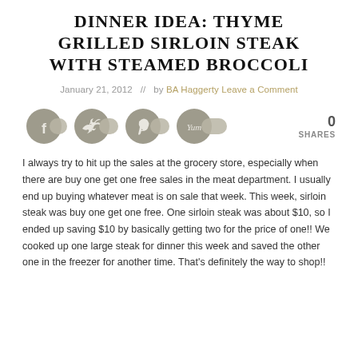DINNER IDEA: THYME GRILLED SIRLOIN STEAK WITH STEAMED BROCCOLI
January 21, 2012   //   by BA Haggerty Leave a Comment
[Figure (other): Social share buttons: Facebook, Twitter, Pinterest, Yummly icons, and share count showing 0 SHARES]
I always try to hit up the sales at the grocery store, especially when there are buy one get one free sales in the meat department. I usually end up buying whatever meat is on sale that week. This week, sirloin steak was buy one get one free. One sirloin steak was about $10, so I ended up saving $10 by basically getting two for the price of one!! We cooked up one large steak for dinner this week and saved the other one in the freezer for another time. That's definitely the way to shop!!